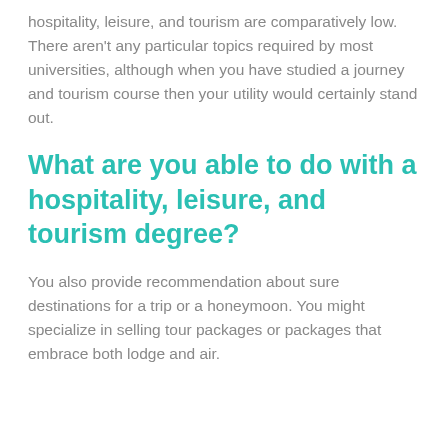hospitality, leisure, and tourism are comparatively low. There aren't any particular topics required by most universities, although when you have studied a journey and tourism course then your utility would certainly stand out.
What are you able to do with a hospitality, leisure, and tourism degree?
You also provide recommendation about sure destinations for a trip or a honeymoon. You might specialize in selling tour packages or packages that embrace both lodge and air.